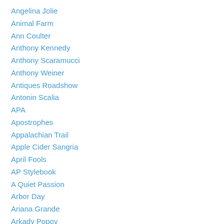Angelina Jolie
Animal Farm
Ann Coulter
Anthony Kennedy
Anthony Scaramucci
Anthony Weiner
Antiques Roadshow
Antonin Scalia
APA
Apostrophes
Appalachian Trail
Apple Cider Sangria
April Fools
AP Stylebook
A Quiet Passion
Arbor Day
Ariana Grande
Arkady Popov
Art
Assateague Island National Seashore
Athena Chu S...